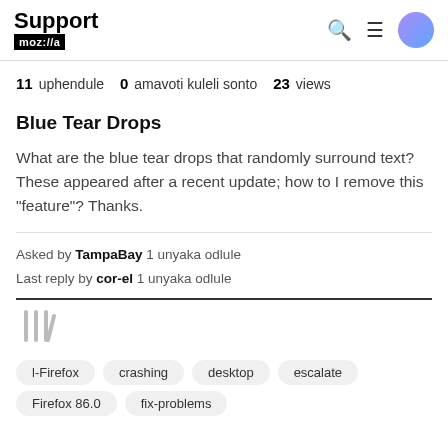Support moz://a
11 uphendule  0 amavoti kuleli sonto  23 views
Blue Tear Drops
What are the blue tear drops that randomly surround text? These appeared after a recent update; how to I remove this "feature"? Thanks.
Asked by TampaBay 1 unyaka odlule
Last reply by cor-el 1 unyaka odlule
l-Firefox  crashing  desktop  escalate  Firefox 86.0  fix-problems